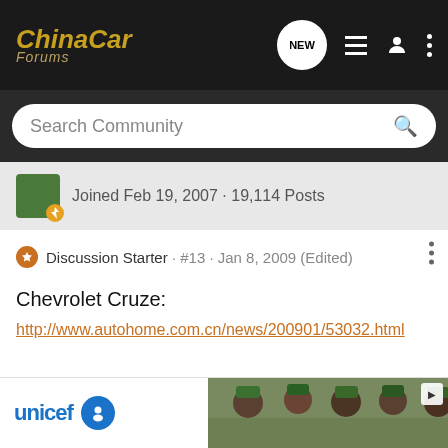ChinaCar Forums
Search Community
Joined Feb 19, 2007 · 19,114 Posts
Discussion Starter · #13 · Jan 8, 2009 (Edited)
Chevrolet Cruze:
http://www.autohome.com.cn/news/200901/53032.html
[Figure (photo): UNICEF advertisement banner with logo and children photo]